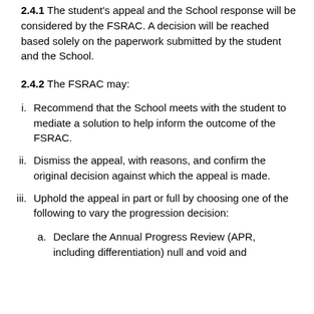2.4.1 The student's appeal and the School response will be considered by the FSRAC. A decision will be reached based solely on the paperwork submitted by the student and the School.
2.4.2 The FSRAC may:
i. Recommend that the School meets with the student to mediate a solution to help inform the outcome of the FSRAC.
ii. Dismiss the appeal, with reasons, and confirm the original decision against which the appeal is made.
iii. Uphold the appeal in part or full by choosing one of the following to vary the progression decision:
a. Declare the Annual Progress Review (APR, including differentiation) null and void and